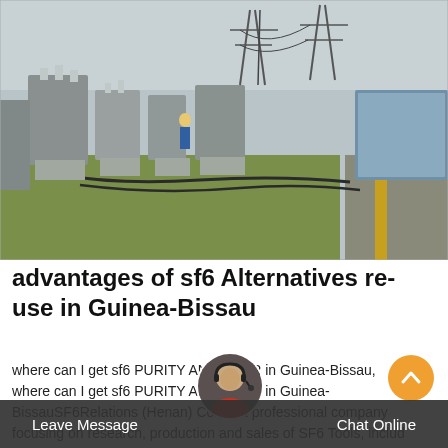[Figure (photo): Outdoor electrical substation with large metal transformer equipment and insulators on green grass, power transmission towers in background, overcast sky, yellow barrier on right side.]
advantages of sf6 Alternatives re-use in Guinea-Bissau
where can I get sf6 PURITY ANALYZER in Guinea-Bissau,where can I get sf6 PURITY ANALYZER in Guinea-BissauSF6Relations (Henan) Co., is a professional company focusing on research, production and sales of SF6 Tools, includ